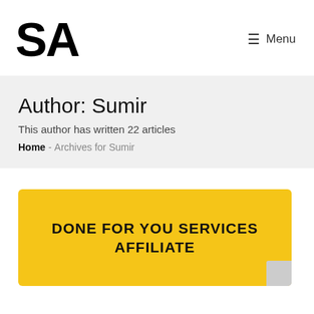[Figure (logo): SA logo in bold black large letters]
≡ Menu
Author: Sumir
This author has written 22 articles
Home - Archives for Sumir
[Figure (illustration): Yellow banner image with bold black text reading DONE FOR YOU SERVICES AFFILIATE]